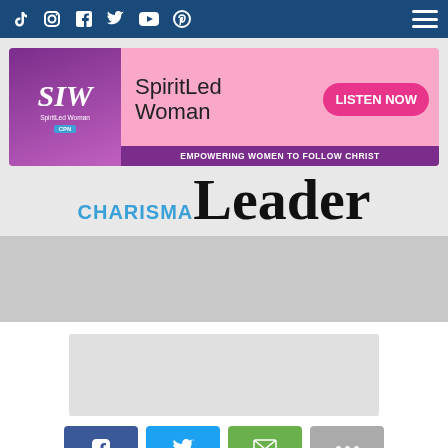Navigation bar with social media icons (TikTok, Instagram, Facebook, Twitter, YouTube, Pinterest) and hamburger menu
[Figure (illustration): SpiritLed Woman podcast banner ad: purple logo box with 'SLW' text and 'SpiritLed Woman CPN' branding, pink background with 'SpiritLed Woman' title, pink 'LISTEN NOW' button, purple strip 'EMPOWERING WOMEN TO FOLLOW CHRIST']
CHARISMA Leader
[Figure (other): Gray advertisement placeholder area]
[Figure (other): Light gray content placeholder box]
[Figure (other): Social share buttons: Facebook (blue), Twitter (light blue), Email (green), More options (gray)]